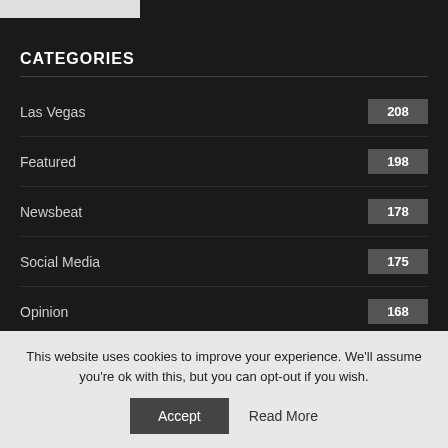[Figure (other): White image bar at top left]
CATEGORIES
Las Vegas 208
Featured 198
Newsbeat 178
Social Media 175
Opinion 168
Technology 156
This website uses cookies to improve your experience. We'll assume you're ok with this, but you can opt-out if you wish.
Accept  Read More